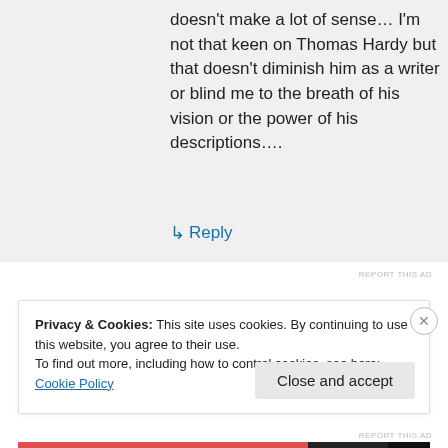doesn't make a lot of sense… I'm not that keen on Thomas Hardy but that doesn't diminish him as a writer or blind me to the breath of his vision or the power of his descriptions….
↳ Reply
REPORT THIS AD
Privacy & Cookies: This site uses cookies. By continuing to use this website, you agree to their use.
To find out more, including how to control cookies, see here: Cookie Policy
Close and accept
REPORT THIS AD